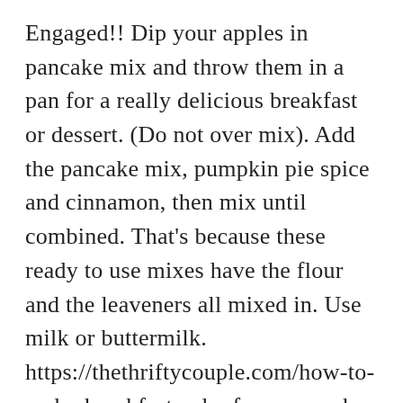Engaged!! Dip your apples in pancake mix and throw them in a pan for a really delicious breakfast or dessert. (Do not over mix). Add the pancake mix, pumpkin pie spice and cinnamon, then mix until combined. That's because these ready to use mixes have the flour and the leaveners all mixed in. Use milk or buttermilk. https://thethriftycouple.com/how-to-make-breakfast-cake-from-pancake-mix 2 3/4 C. pancake mix 2 1/4 C. water 1/3 C. oil (or bean puree) Mix ingredients together until smooth. Get the recipe from Chocolate Chocolate and More. Instructions to make biscuits . If you want a low carb muffin, use a sweetener like erythritol or monk fruit. Whether it's easy muffins, jazzed-up pancakes, or churros, there's a ton of things that you can make with pancake mix. If